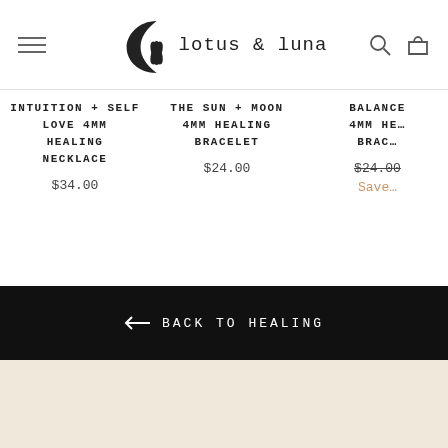lotus & luna
INTUITION + SELF LOVE 4MM HEALING NECKLACE
$34.00
THE SUN + MOON 4MM HEALING BRACELET
$24.00
BALANCE 4MM HE… BRAC…
$24.00
Save…
← BACK TO HEALING